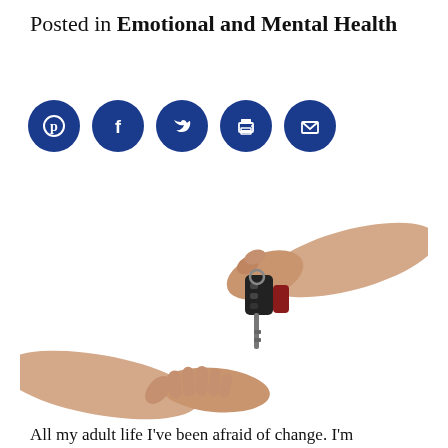Posted in Emotional and Mental Health
[Figure (infographic): Five blue circular social media/sharing icons: Pinterest, Facebook, Twitter, Print, Email]
[Figure (photo): Two hands exchanging car keys on a white background. One hand from upper right holds keys, another hand from lower left is open and receiving.]
All my adult life I've been afraid of change. I'm